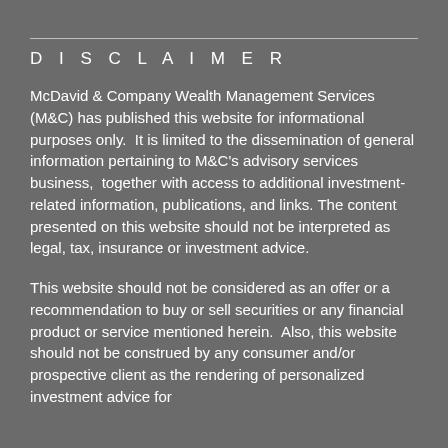D I S C L A I M E R
McDavid & Company Wealth Management Services (M&C) has published this website for informational purposes only.  It is limited to the dissemination of general information pertaining to M&C's advisory services business,  together with access to additional investment-related information, publications, and links. The content presented on this website should not be interpreted as legal, tax, insurance or investment advice.
This website should not be considered as an offer or a recommendation to buy or sell securities or any financial product or service mentioned herein.  Also, this website should not be construed by any consumer and/or prospective client as the rendering of personalized investment advice for